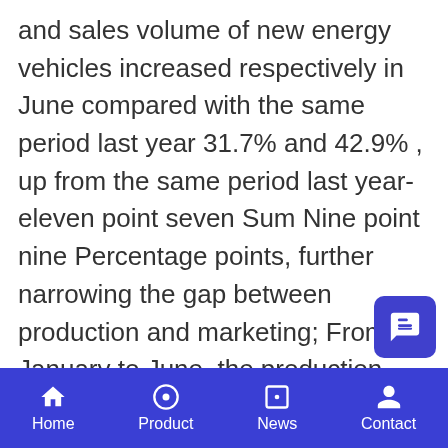and sales volume of new energy vehicles increased respectively in June compared with the same period last year 31.7% and 42.9% , up from the same period last year- eleven point seven Sum Nine point nine Percentage points, further narrowing the gap between production and marketing; From January to June, the production and sales of new energy vehicles increased respectively year on year 94.9% and 111.5% , up from the same period last year eleven point seven Sum ninety-seven point one Percentage points, the rapid development trend is obvious. On a month on month basis, the production and sales volume of new energy vehicles in June decreased by 10000 units and 10000 units
Home  Product  News  Contact